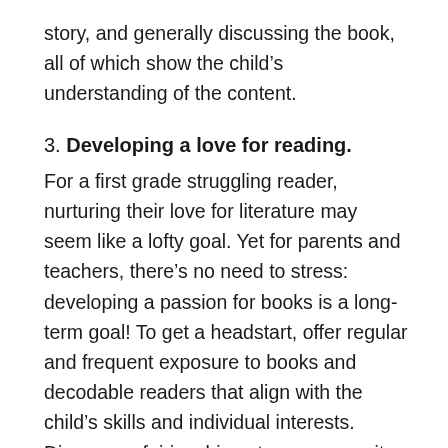story, and generally discussing the book, all of which show the child's understanding of the content.
3. Developing a love for reading.
For a first grade struggling reader, nurturing their love for literature may seem like a lofty goal. Yet for parents and teachers, there's no need to stress: developing a passion for books is a long-term goal! To get a headstart, offer regular and frequent exposure to books and decodable readers that align with the child's skills and individual interests. Dinosaurs, fairies, big cats, you name it: there's a book for your first grader.